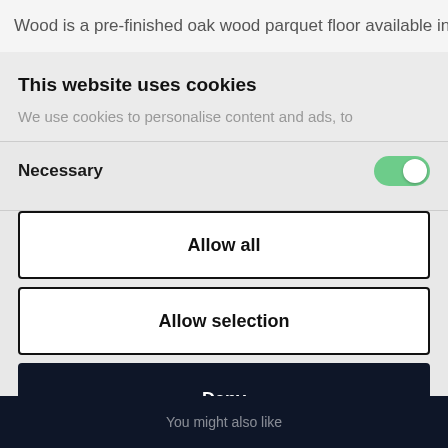Wood is a pre-finished oak wood parquet floor available in
This website uses cookies
We use cookies to personalise content and ads, to
Necessary
Allow all
Allow selection
Deny
Powered by Cookiebot by Usercentrics
You might also like